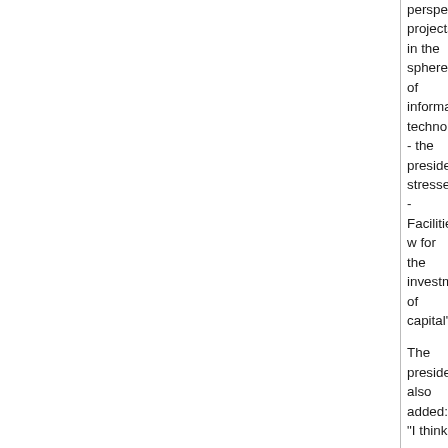perspective projects in the sphere of informational technologies, - the president stressed. - Facilities w for the investments of capital".
The president also added: "I think we can be satisfi International telecommunications union, which was instrument of interaction with governments and bus countries for leading projects that demand substant
While speaking on the Summit, Alexander Lukashe Belarus had accumulated a significant experience c technologies adoption. "When we refused "shock" r save high scientific and industrial potential inherent president stressed.
He also noted that the Summit being in Minsk also acknowledgment of our country's achievements in t informational technologies and Belarus' active role processes on the post-soviet space.
"Currency of today's forum is without doubt. Dynam informational technologies and their introduction int an integral part of every state of the world's develo said.
But by his words, in the modern state of economica danger of a gap between developing and develope
"I said it a lot of times, and will stress again, that pr technology is in the best interest of everyone on the strengthen cooperation and understanding on a glo Lukashenko noted.